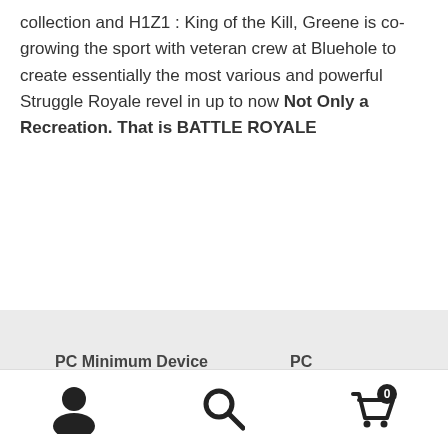collection and H1Z1 : King of the Kill, Greene is co-growing the sport with veteran crew at Bluehole to create essentially the most various and powerful Struggle Royale revel in up to now Not Only a Recreation. That is BATTLE ROYALE
| PC Minimum Device Necessities: | PC Recommended Device Necessities: |
| --- | --- |
| Processor: Intel Middle i3-4340 / AMD FX-6300 |  |
[user icon] [search icon] [cart icon with badge 0]